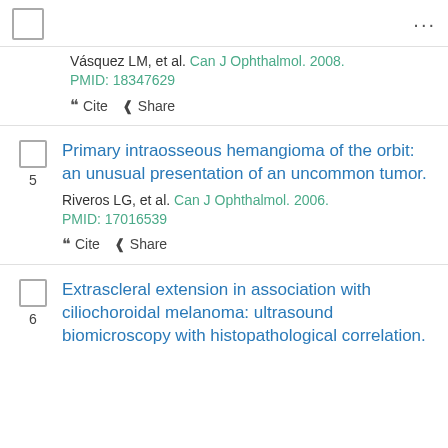...
Vásquez LM, et al. Can J Ophthalmol. 2008.
PMID: 18347629
❝ Cite  Share
5. Primary intraosseous hemangioma of the orbit: an unusual presentation of an uncommon tumor.
Riveros LG, et al. Can J Ophthalmol. 2006.
PMID: 17016539
❝ Cite  Share
6. Extrascleral extension in association with ciliochoroidal melanoma: ultrasound biomicroscopy with histopathological correlation.